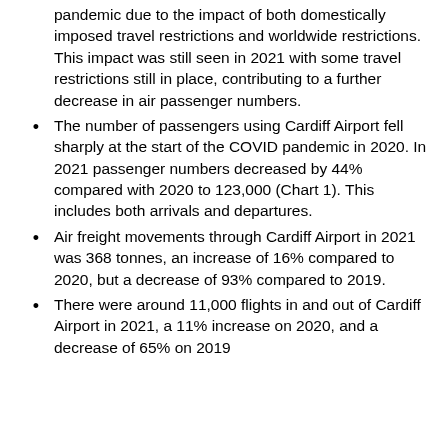pandemic due to the impact of both domestically imposed travel restrictions and worldwide restrictions. This impact was still seen in 2021 with some travel restrictions still in place, contributing to a further decrease in air passenger numbers.
The number of passengers using Cardiff Airport fell sharply at the start of the COVID pandemic in 2020. In 2021 passenger numbers decreased by 44% compared with 2020 to 123,000 (Chart 1). This includes both arrivals and departures.
Air freight movements through Cardiff Airport in 2021 was 368 tonnes, an increase of 16% compared to 2020, but a decrease of 93% compared to 2019.
There were around 11,000 flights in and out of Cardiff Airport in 2021, a 11% increase on 2020, and a decrease of 65% on 2019